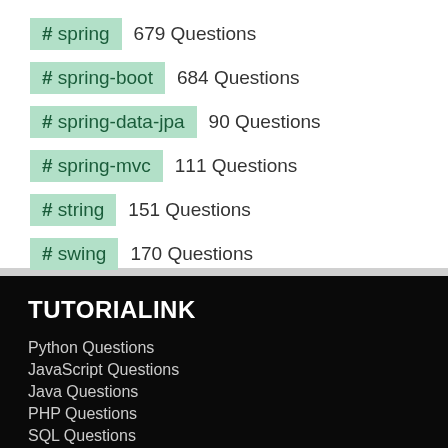# spring 679 Questions
# spring-boot 684 Questions
# spring-data-jpa 90 Questions
# spring-mvc 111 Questions
# string 151 Questions
# swing 170 Questions
TUTORIALINK
Python Questions
JavaScript Questions
Java Questions
PHP Questions
SQL Questions